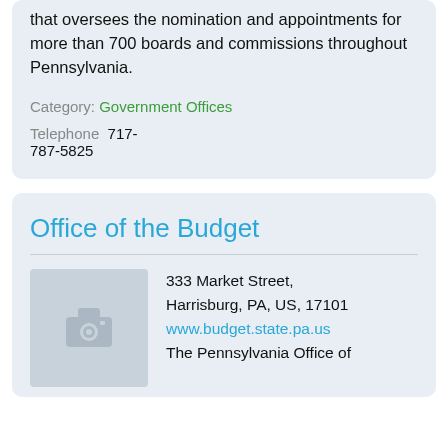that oversees the nomination and appointments for more than 700 boards and commissions throughout Pennsylvania.
Category: Government Offices
Telephone  717-787-5825
Office of the Budget
333 Market Street, Harrisburg, PA, US, 17101
www.budget.state.pa.us
The Pennsylvania Office of